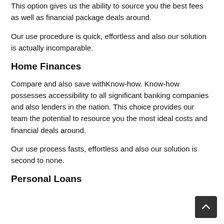This option gives us the ability to source you the best fees as well as financial package deals around.
Our use procedure is quick, effortless and also our solution is actually incomparable.
Home Finances
Compare and also save withKnow-how. Know-how possesses accessibility to all significant banking companies and also lenders in the nation. This choice provides our team the potential to resource you the most ideal costs and financial deals around.
Our use process fasts, effortless and also our solution is second to none.
Personal Loans